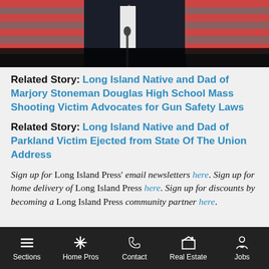[Figure (photo): Photo of a man in a dark suit speaking at a podium with microphones, American flags visible in the background. Dark overlay at bottom of image.]
Related Story: Long Island Native and Dad of Marjory Stoneman Douglas High School Mass Shooting Victim Advocates for Gun Safety Laws
Related Story: Long Island Native and Dad of Parkland Victim Ejected from State Of The Union Address
Sign up for Long Island Press' email newsletters here. Sign up for home delivery of Long Island Press here. Sign up for discounts by becoming a Long Island Press community partner here.
Sections | Home Pros | Contact | Real Estate | Jobs